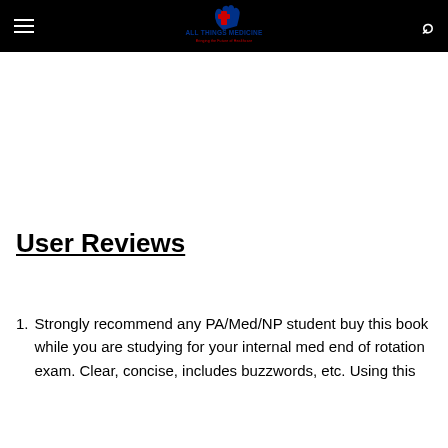ALL THINGS MEDICINE — Bringing the Future of Healthcare
User Reviews
Strongly recommend any PA/Med/NP student buy this book while you are studying for your internal med end of rotation exam. Clear, concise, includes buzzwords, etc. Using this